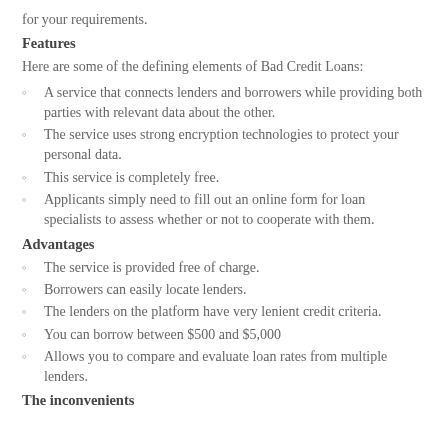for your requirements.
Features
Here are some of the defining elements of Bad Credit Loans:
A service that connects lenders and borrowers while providing both parties with relevant data about the other.
The service uses strong encryption technologies to protect your personal data.
This service is completely free.
Applicants simply need to fill out an online form for loan specialists to assess whether or not to cooperate with them.
Advantages
The service is provided free of charge.
Borrowers can easily locate lenders.
The lenders on the platform have very lenient credit criteria.
You can borrow between $500 and $5,000
Allows you to compare and evaluate loan rates from multiple lenders.
The inconvenients